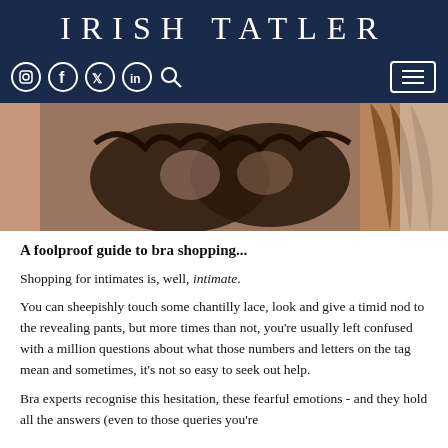IRISH TATLER
[Figure (screenshot): Navigation bar with social media icons (Instagram, Facebook, Twitter, LinkedIn), search icon, and hamburger menu button on dark navy background]
[Figure (photo): Close-up photo of a woman wearing a black lace bra with floral details]
A foolproof guide to bra shopping...
Shopping for intimates is, well, intimate.
You can sheepishly touch some chantilly lace, look and give a timid nod to the revealing pants, but more times than not, you're usually left confused with a million questions about what those numbers and letters on the tag mean and sometimes, it's not so easy to seek out help.
Bra experts recognise this hesitation, these fearful emotions - and they hold all the answers (even to those queries you're